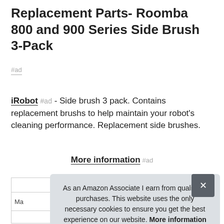Replacement Parts- Roomba 800 and 900 Series Side Brush 3-Pack
#ad
iRobot #ad - Side brush 3 pack. Contains replacement brushs to help maintain your robot's cleaning performance. Replacement side brushes.
More information #ad
As an Amazon Associate I earn from qualifying purchases. This website uses the only necessary cookies to ensure you get the best experience on our website. More information